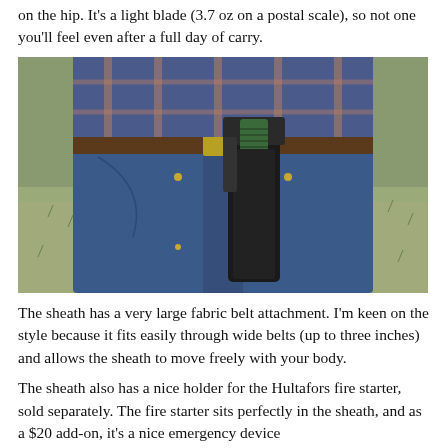on the hip. It's a light blade (3.7 oz on a postal scale), so not one you'll feel even after a full day of carry.
[Figure (photo): Person wearing jeans and a plaid shirt with a large knife in a black fabric sheath clipped to the belt on their hip, photographed outdoors.]
The sheath has a very large fabric belt attachment. I'm keen on the style because it fits easily through wide belts (up to three inches) and allows the sheath to move freely with your body.
The sheath also has a nice holder for the Hultafors fire starter, sold separately. The fire starter sits perfectly in the sheath, and as a $20 add-on, it's a nice emergency device